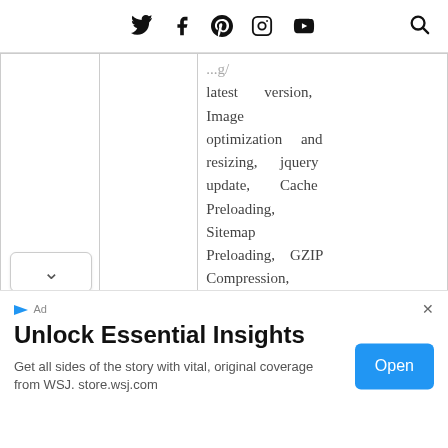Twitter Facebook Pinterest Instagram YouTube [Search]
|  |  | ...g/
latest version, Image optimization and resizing, jquery update, Cache Preloading, Sitemap Preloading, GZIP Compression, Browser Caching, Database Optimization, Google Fonts |
Unlock Essential Insights
Get all sides of the story with vital, original coverage from WSJ. store.wsj.com